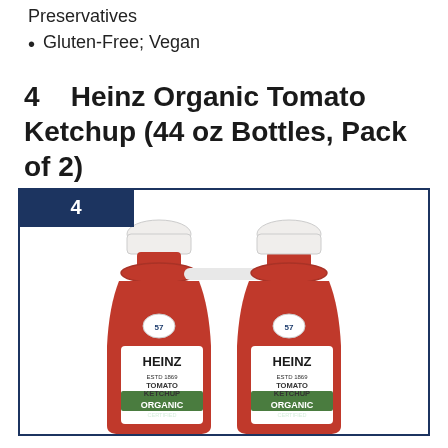Preservatives
Gluten-Free; Vegan
4   Heinz Organic Tomato Ketchup (44 oz Bottles, Pack of 2)
[Figure (photo): Two Heinz Organic Tomato Ketchup 44oz bottles side by side connected by a plastic ring, shown with a dark navy numbered badge '4' in the top-left corner and a navy border around the image.]